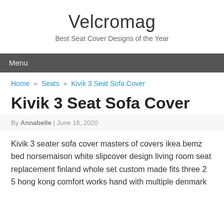Velcromag
Best Seat Cover Designs of the Year
Menu
Home » Seats » Kivik 3 Seat Sofa Cover
Kivik 3 Seat Sofa Cover
By Annabelle | June 16, 2020
Kivik 3 seater sofa cover masters of covers ikea bemz bed norsemaison white slipcover design living room seat replacement finland whole set custom made fits three 2 5 hong kong comfort works hand with multiple denmark